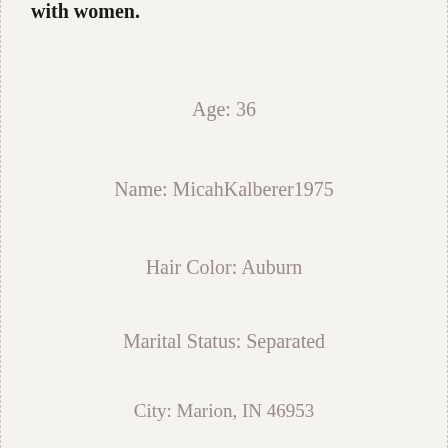with women.
Age: 36
Name: MicahKalberer1975
Hair Color: Auburn
Marital Status: Separated
City: Marion, IN 46953
[Figure (photo): Pink rounded box containing two small thumbnail photos of women]
[Figure (photo): Pink rounded box containing a heart emoji and a small thumbnail photo of a woman]